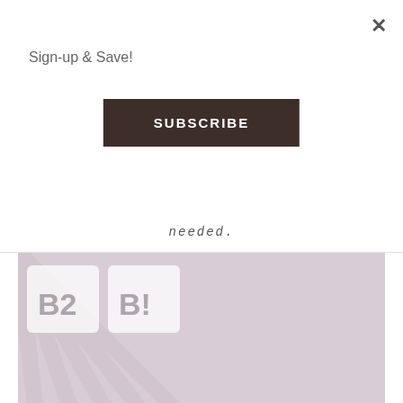Sign-up & Save!
SUBSCRIBE
needed.
[Figure (photo): Event display showing an 'advice for life' logo sign and speech-bubble cards reading 'B2 B!' with a sunburst backdrop and polaroid photos at the bottom, in muted pink/lavender tones.]